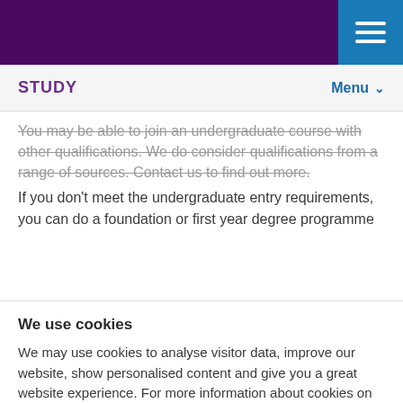STUDY  Menu
You may be able to join an undergraduate course with other qualifications. We do consider qualifications from a range of sources. Contact us to find out more.
If you don't meet the undergraduate entry requirements, you can do a foundation or first year degree programme
We use cookies
We may use cookies to analyse visitor data, improve our website, show personalised content and give you a great website experience. For more information about cookies on our site and to tailor the cookies we collect, select 'Manage settings'.
I'm OK with cookies
Manage settings